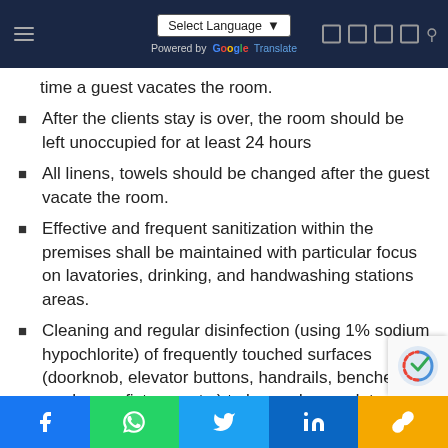Select Language | Powered by Google Translate
time a guest vacates the room.
After the clients stay is over, the room should be left unoccupied for at least 24 hours
All linens, towels should be changed after the guest vacate the room.
Effective and frequent sanitization within the premises shall be maintained with particular focus on lavatories, drinking, and handwashing stations areas.
Cleaning and regular disinfection (using 1% sodium hypochlorite) of frequently touched surfaces (doorknob, elevator buttons, handrails, benches, washroom fixtures, etc.) to be made mandatory
Facebook | WhatsApp | Twitter | LinkedIn | Link